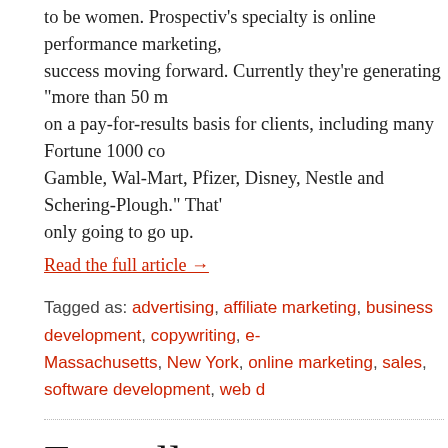to be women. Prospectiv's specialty is online performance marketing, success moving forward. Currently they're generating "more than 50 m on a pay-for-results basis for clients, including many Fortune 1000 co Gamble, Wal-Mart, Pfizer, Disney, Nestle and Schering-Plough." That' only going to go up.
Read the full article →
Tagged as: advertising, affiliate marketing, business development, copywriting, e-... Massachusetts, New York, online marketing, sales, software development, web d...
Fatwallet
by WILLY FRANZEN on NOVEMBER 26, 2010
It's 8 AM on Black Friday, and I haven't bought anything yet. I guess th I'm more interested in Cyber Monday when I can find great deals onli On previous Black Fridays we've taken a look at internships with companies like Ernst & Young (because today is when companies are finally "in the black") and Visa (since you'll probably be swiping yours